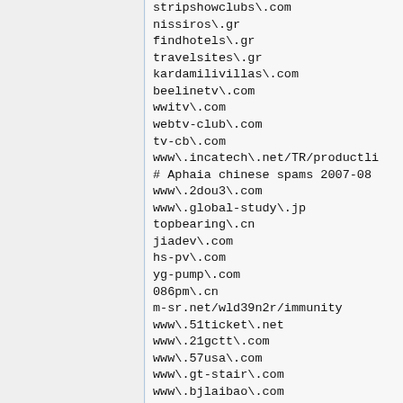stripshowclubs\.com
nissiros\.gr
findhotels\.gr
travelsites\.gr
kardamilivillas\.com
beelinetv\.com
wwitv\.com
webtv-club\.com
tv-cb\.com
www\.incatech\.net/TR/productli
# Aphaia chinese spams 2007-08
www\.2dou3\.com
www\.global-study\.jp
topbearing\.cn
jiadev\.com
hs-pv\.com
yg-pump\.com
086pm\.cn
m-sr.net/wld39n2r/immunity
www\.51ticket\.net
www\.21gctt\.com
www\.57usa\.com
www\.gt-stair\.com
www\.bjlaibao\.com
# Aphaia Job offering spams 200